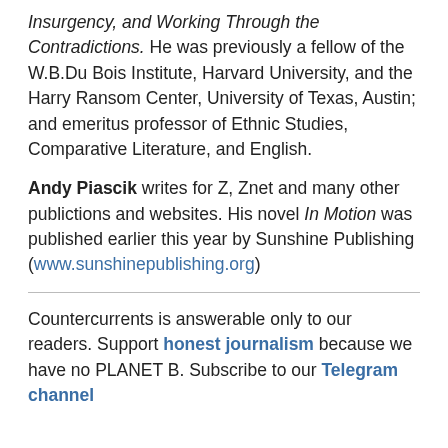Insurgency, and Working Through the Contradictions. He was previously a fellow of the W.B.Du Bois Institute, Harvard University, and the Harry Ransom Center, University of Texas, Austin; and emeritus professor of Ethnic Studies, Comparative Literature, and English.
Andy Piascik writes for Z, Znet and many other publictions and websites. His novel In Motion was published earlier this year by Sunshine Publishing (www.sunshinepublishing.org)
Countercurrents is answerable only to our readers. Support honest journalism because we have no PLANET B. Subscribe to our Telegram channel